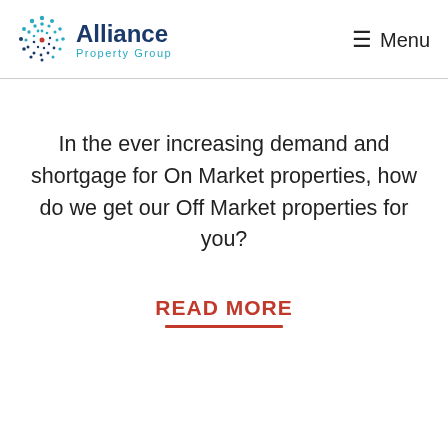Alliance Property Group | Menu
In the ever increasing demand and shortgage for On Market properties, how do we get our Off Market properties for you?
READ MORE